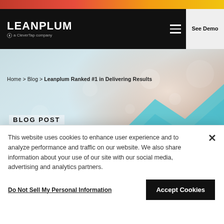LEANPLUM — a CleverTap company
Home > Blog > Leanplum Ranked #1 in Delivering Results
BLOG POST
Leanplum Ranked #1 in
This website uses cookies to enhance user experience and to analyze performance and traffic on our website. We also share information about your use of our site with our social media, advertising and analytics partners.
Do Not Sell My Personal Information
Accept Cookies